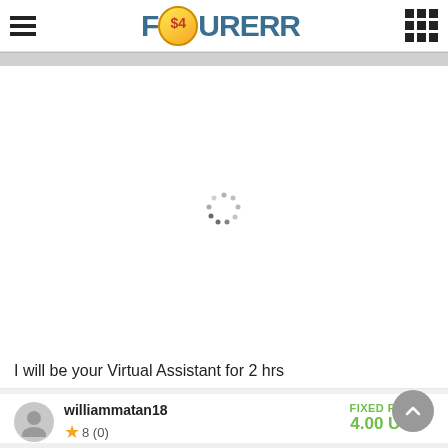[Figure (logo): Fourerr website logo with hamburger menu icon on left and grid icon on right]
[Figure (screenshot): White card area with a loading spinner (dots in circular arrangement) in the center]
I will be your Virtual Assistant for 2 hrs
williammatan18
FIXED PRICE
4.00 USD